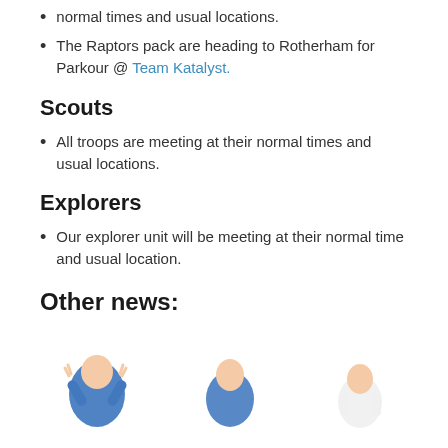normal times and usual locations.
The Raptors pack are heading to Rotherham for Parkour @ Team Katalyst.
Scouts
All troops are meeting at their normal times and usual locations.
Explorers
Our explorer unit will be meeting at their normal time and usual location.
Other news:
[Figure (photo): Three children wearing blue and white t-shirts/hoodies, partially visible at the bottom of the page]